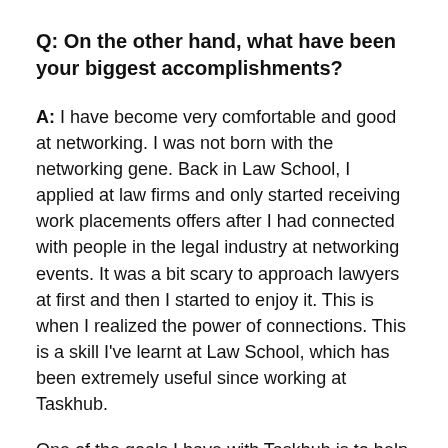Q: On the other hand, what have been your biggest accomplishments?
A: I have become very comfortable and good at networking. I was not born with the networking gene. Back in Law School, I applied at law firms and only started receiving work placements offers after I had connected with people in the legal industry at networking events. It was a bit scary to approach lawyers at first and then I started to enjoy it. This is when I realized the power of connections. This is a skill I've learnt at Law School, which has been extremely useful since working at Taskhub.
One of the goals I have with Taskhub is to help charities find volunteers locally (for free) through our website. I met actor Stephen Fry at a few occasions to discuss a few ideas and get his advice. He was very